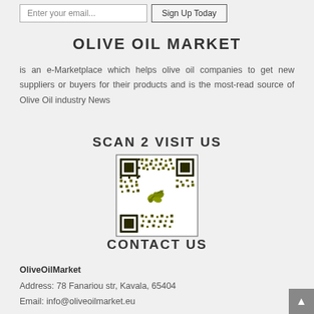Enter your email... | Sign Up Today
OLIVE OIL MARKET
is an e-Marketplace which helps olive oil companies to get new suppliers or buyers for their products and is the most-read source of Olive Oil industry News
SCAN 2 VISIT US
[Figure (other): QR code for OliveOilMarket website with olive branch logo in center]
CONTACT US
OliveOilMarket
Address: 78 Fanariou str, Kavala, 65404
Email: info@oliveoilmarket.eu